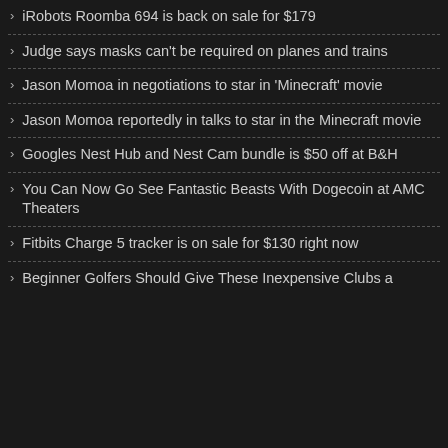iRobots Roomba 694 is back on sale for $179
Judge says masks can't be required on planes and trains
Jason Momoa in negotiations to star in 'Minecraft' movie
Jason Momoa reportedly in talks to star in the Minecraft movie
Googles Nest Hub and Nest Cam bundle is $50 off at B&H
You Can Now Go See Fantastic Beasts With Dogecoin at AMC Theaters
Fitbits Charge 5 tracker is on sale for $130 right now
Beginner Golfers Should Give These Inexpensive Clubs a